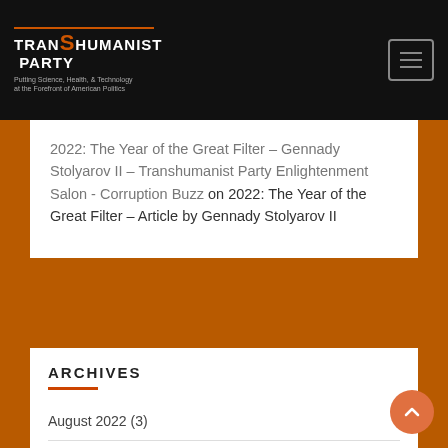TRANSHUMANIST PARTY – Putting Science, Health, & Technology at the Forefront of American Politics
2022: The Year of the Great Filter – Gennady Stolyarov II – Transhumanist Party Enlightenment Salon - Corruption Buzz on 2022: The Year of the Great Filter – Article by Gennady Stolyarov II
ARCHIVES
August 2022 (3)
July 2022 (2)
May 2022 (6)